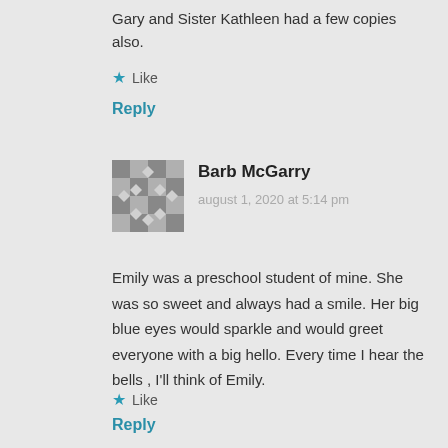Gary and Sister Kathleen had a few copies also.
★ Like
Reply
[Figure (illustration): Gray avatar/identicon image for commenter Barb McGarry]
Barb McGarry
august 1, 2020 at 5:14 pm
Emily was a preschool student of mine. She was so sweet and always had a smile. Her big blue eyes would sparkle and would greet everyone with a big hello. Every time I hear the bells , I'll think of Emily.
★ Like
Reply